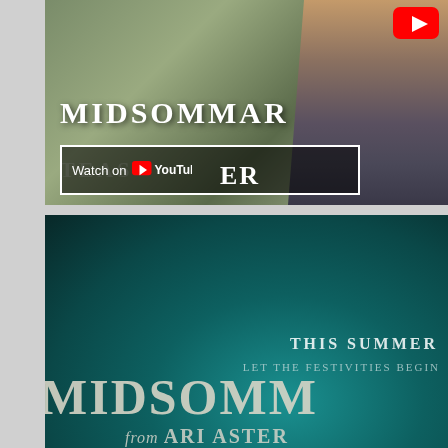[Figure (screenshot): YouTube video thumbnail for Midsommar teaser trailer. Shows a person walking outdoors with trees in background, overlaid with 'MIDSOMMAR' title text in white, a 'Watch on YouTube' button, and partially visible text 'TEASER' with 'ER' in a bordered box. YouTube logo visible in top right corner.]
[Figure (photo): Movie poster for Midsommar on a teal/dark green gradient background. Text reads 'THIS SUMMER', 'LET THE FESTIVITIES BEGIN', 'MIDSOMM' (cut off), and 'from ARI ASTER' at the bottom.]